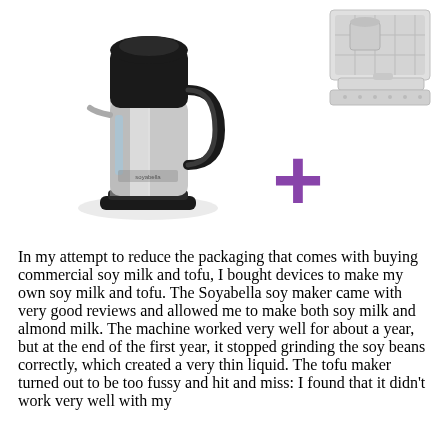[Figure (photo): A black and silver Soyabella soy milk maker (electric kettle-style appliance) on the left, a purple plus sign in the center, and a white tofu maker device (plastic mold/tray kit) on the upper right.]
In my attempt to reduce the packaging that comes with buying commercial soy milk and tofu, I bought devices to make my own soy milk and tofu. The Soyabella soy maker came with very good reviews and allowed me to make both soy milk and almond milk. The machine worked very well for about a year, but at the end of the first year, it stopped grinding the soy beans correctly, which created a very thin liquid. The tofu maker turned out to be too fussy and hit and miss: I found that it didn't work very well with my